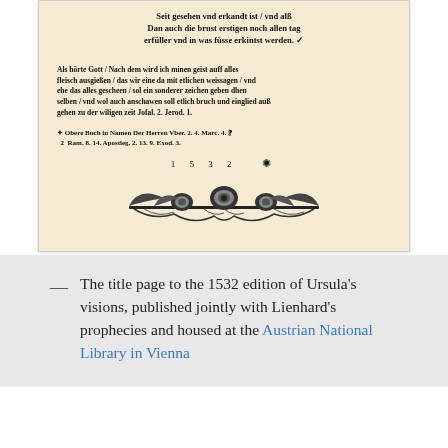[Figure (photo): Photograph of the title page of the 1532 edition of Ursula's visions, an old printed book page with blackletter German text and a decorative floral/ornamental border at the bottom.]
— The title page to the 1532 edition of Ursula's visions, published jointly with Lienhard's prophecies and housed at the Austrian National Library in Vienna
In the 1530 edition of the visions, neither Melchior Hoffman nor Ursula Jost made an issue of Ursula's gender. They simply took for granted that women could prophesy. In 1532, however, Hoffman offered a lengthy argument in defence of